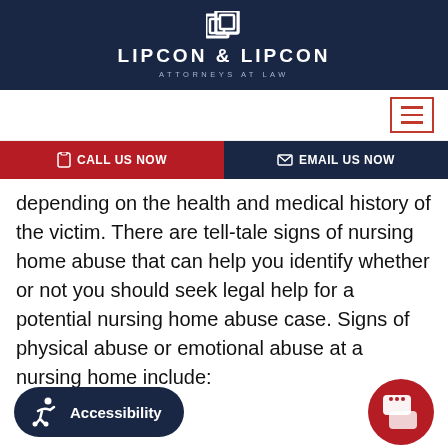LIPCON & LIPCON ATTORNEYS AT LAW
depending on the health and medical history of the victim. There are tell-tale signs of nursing home abuse that can help you identify whether or not you should seek legal help for a potential nursing home abuse case. Signs of physical abuse or emotional abuse at a nursing home include: